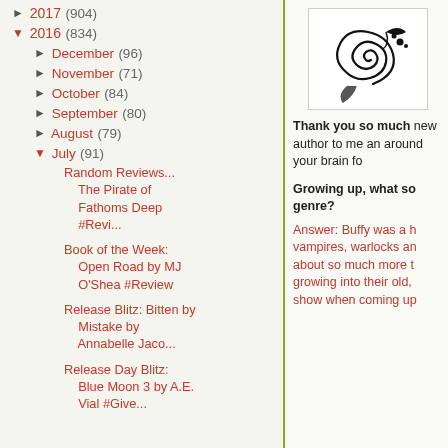► 2017 (904)
▼ 2016 (834)
► December (96)
► November (71)
► October (84)
► September (80)
► August (79)
▼ July (91)
Random Reviews... The Pirate of Fathoms Deep #Revi...
Book of the Week: Open Road by MJ O'Shea #Review
Release Blitz: Bitten by Mistake by Annabelle Jaco...
Release Day Blitz: Blue Moon 3 by A.E. Vial #Give...
[Figure (illustration): Decorative black floral/scroll design on white background in a box]
Thank you so much new author to me and around your brain fo...
Growing up, what so genre?
Answer: Buffy was a h vampires, warlocks an about so much more t growing into their old, show when coming up...